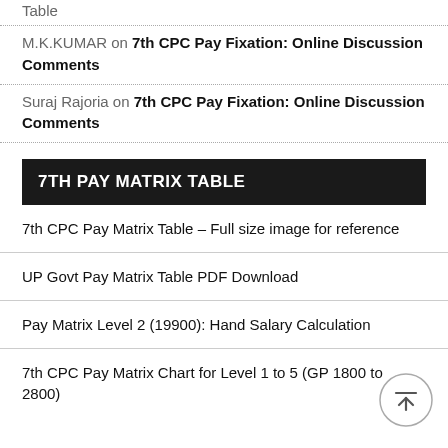Table
M.K.KUMAR on 7th CPC Pay Fixation: Online Discussion Comments
Suraj Rajoria on 7th CPC Pay Fixation: Online Discussion Comments
7TH PAY MATRIX TABLE
7th CPC Pay Matrix Table – Full size image for reference
UP Govt Pay Matrix Table PDF Download
Pay Matrix Level 2 (19900): Hand Salary Calculation
7th CPC Pay Matrix Chart for Level 1 to 5 (GP 1800 to 2800)